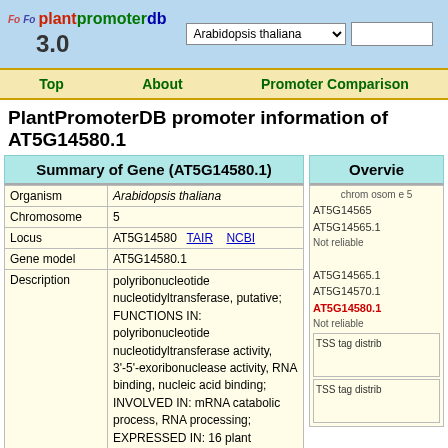plantpromoterdb 3.0 — Arabidopsis thaliana [search bar]
Top | About | Promoter Comparison
PlantPromoterDB promoter information of AT5G14580.1
Summary of Gene (AT5G14580.1)
| Field | Value |
| --- | --- |
| Organism | Arabidopsis thaliana |
| Chromosome | 5 |
| Locus | AT5G14580  TAIR  NCBI |
| Gene model | AT5G14580.1 |
| Description | polyribonucleotide nucleotidyltransferase, putative; FUNCTIONS IN: polyribonucleotide nucleotidyltransferase activity, 3'-5'-exoribonuclease activity, RNA binding, nucleic acid binding; INVOLVED IN: mRNA catabolic process, RNA processing; EXPRESSED IN: 16 plant structures; EXPRESSED DURING: 7 growth stages; CONTAINS InterPro DOMAIN/s: Nucleic acid-binding, OB-fold (InterPro:IPR012340), K Homology, type 1, subgroup (InterPro:IPR018111), Exoribonuclease, phosphorolytic domain 2 (InterPro:IPR015847), S1, RNA binding (InterPro:IPR003029), Polynucleotide phosphorylase, phosphorolytic RNA-binding, bacterial/organelle-type (InterPro:IPR015848), |
Overview
chromosome 5
AT5G14565
AT5G14565.1
Not reliable
AT5G14565.1
AT5G14570.1
AT5G14580.1
Not reliable
TSS tag distrib
TSS tag distrib